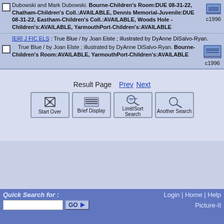Dubowski and Mark Dubowski. Bourne-Children's Room:DUE 08-31-22, Chatham-Children's Coll.:AVAILABLE, Dennis Memorial-Juvenile:DUE 08-31-22, Eastham-Children's Coll.:AVAILABLE, Woods Hole - Children's:AVAILABLE, YarmouthPort-Children's:AVAILABLE c1996
[ER] J FIC ELS : True Blue / by Joan Elste ; illustrated by DyAnne DiSalvo-Ryan. True Blue / by Joan Elste ; illustrated by DyAnne DiSalvo-Ryan. Bourne-Children's Room:AVAILABLE, YarmouthPort-Children's:AVAILABLE c1996
Result Page Prev Next
[Figure (screenshot): Navigation buttons: Start Over, Brief Display, Limit/Sort Search, Another Search]
Quick Search for : Login | Home | Help | Picture-It